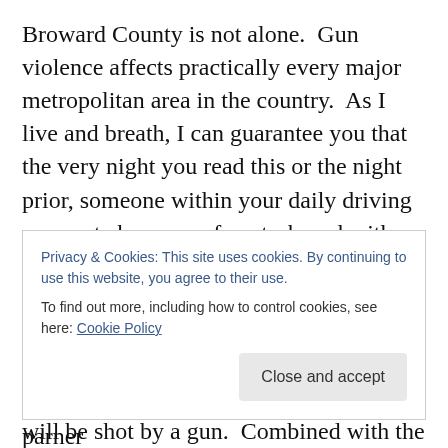Broward County is not alone.  Gun violence affects practically every major metropolitan area in the country.  As I live and breath, I can guarantee you that the very night you read this or the night prior, someone within your daily driving commute has come face-to-barrel with a gun and has had their lives or their families lives changed forever.  In the time it takes you to read this, another American will have been shot by a gun.  By the end of the hour, an American child will be shot by a gun.  Combined with the one shot at the beginning of the hour, 17,000
Privacy & Cookies: This site uses cookies. By continuing to use this website, you agree to their use.
To find out more, including how to control cookies, see here: Cookie Policy
Close and accept
parner